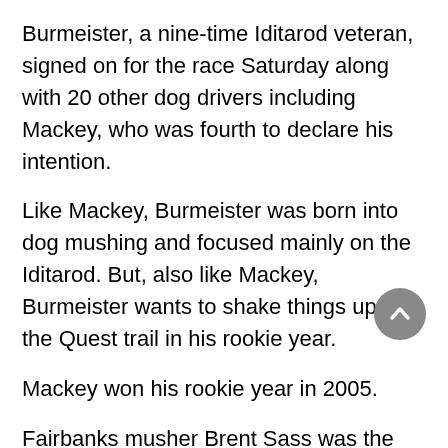Burmeister, a nine-time Iditarod veteran, signed on for the race Saturday along with 20 other dog drivers including Mackey, who was fourth to declare his intention.
Like Mackey, Burmeister was born into dog mushing and focused mainly on the Iditarod. But, also like Mackey, Burmeister wants to shake things up on the Quest trail in his rookie year.
Mackey won his rookie year in 2005.
Fairbanks musher Brent Sass was the first to sign up on Saturday in Fairbanks. He persevered through the raging blizzard earlier this year to win the Quest 300.
Veterans Willomitzer of Whitehorse and Kleedehn of Carcross were fifth and sixth to sign on, respectively.